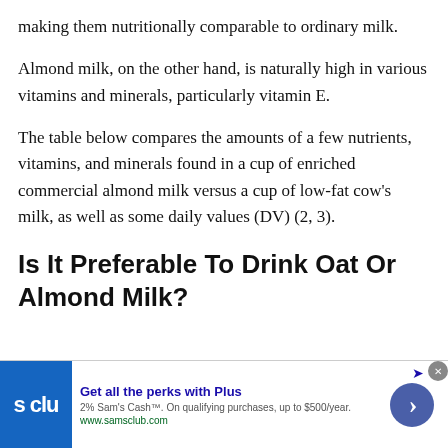making them nutritionally comparable to ordinary milk.
Almond milk, on the other hand, is naturally high in various vitamins and minerals, particularly vitamin E.
The table below compares the amounts of a few nutrients, vitamins, and minerals found in a cup of enriched commercial almond milk versus a cup of low-fat cow's milk, as well as some daily values (DV) (2, 3).
Is It Preferable To Drink Oat Or Almond Milk?
[Figure (other): Advertisement banner for Sam's Club Plus membership. Text: 'Get all the perks with Plus. 2% Sam's Cash™. On qualifying purchases, up to $500/year. www.samsclub.com']